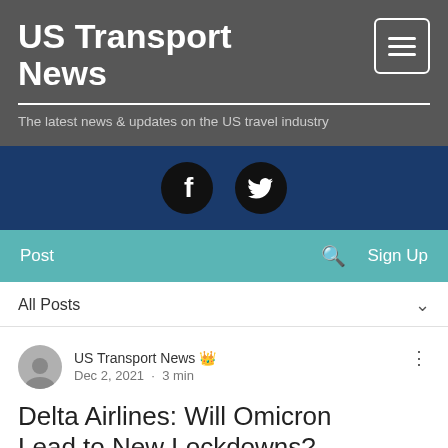US Transport News
The latest news & updates on the US travel industry
[Figure (logo): Facebook and Twitter social media icons on dark blue bar]
Post  🔍  Sign Up
All Posts
US Transport News  Dec 2, 2021 · 3 min
Delta Airlines: Will Omicron Lead to New Lockdowns?